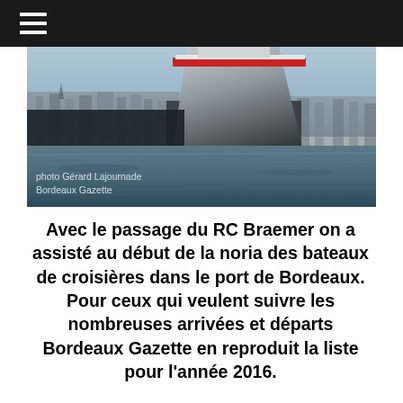≡ (hamburger menu)
[Figure (photo): Photo of a large cruise ship (RC Braemer) viewed from water level in the port of Bordeaux. The ship's dark hull dominates the frame with a red stripe near the waterline. The Garonne river water is visible in the foreground, with city buildings in the background. Photo credit: Gérard Lajournade / Bordeaux Gazette]
photo Gérard Lajournade
Bordeaux Gazette
Avec le passage du RC Braemer on a assisté au début de la noria des bateaux de croisières dans le port de Bordeaux. Pour ceux qui veulent suivre les nombreuses arrivées et départs Bordeaux Gazette en reproduit la liste pour l'année 2016.